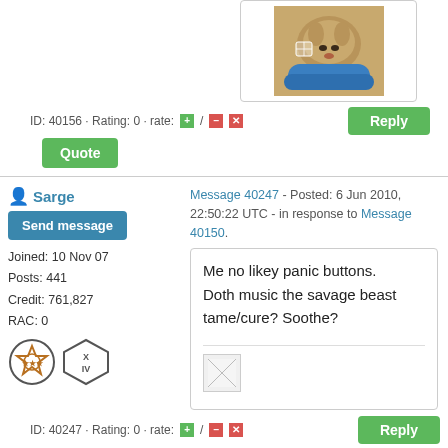[Figure (photo): Photo of a small dog/puppy sitting in a blue pet bowl]
ID: 40156 · Rating: 0 · rate: [+] / [-] [x]
Reply
Quote
Sarge
Send message
Joined: 10 Nov 07
Posts: 441
Credit: 761,827
RAC: 0
Message 40247 - Posted: 6 Jun 2010, 22:50:22 UTC - in response to Message 40150.
Me no likey panic buttons.
Doth music the savage beast tame/cure? Soothe?
[Figure (photo): Broken/missing image placeholder]
ID: 40247 · Rating: 0 · rate: [+] / [-] [x]
Reply